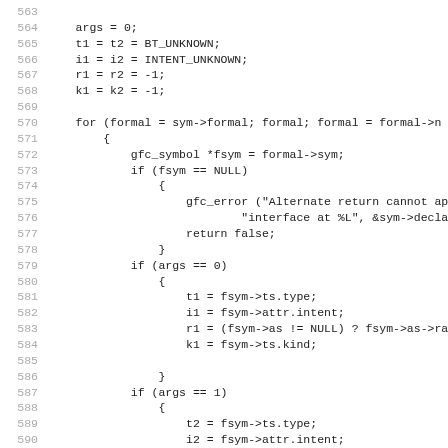563  
564      args = 0;
565      t1 = t2 = BT_UNKNOWN;
566      i1 = i2 = INTENT_UNKNOWN;
567      r1 = r2 = -1;
568      k1 = k2 = -1;
569  
570      for (formal = sym->formal; formal; formal = formal->n
571          {
572              gfc_symbol *fsym = formal->sym;
573              if (fsym == NULL)
574                  {
575                      gfc_error ("Alternate return cannot appear in
576                              "interface at %L", &sym->declared_
577                      return false;
578                  }
579              if (args == 0)
580                  {
581                      t1 = fsym->ts.type;
582                      i1 = fsym->attr.intent;
583                      r1 = (fsym->as != NULL) ? fsym->as->rank : 0;
584                      k1 = fsym->ts.kind;
585  
586                  }
587              if (args == 1)
588                  {
589                      t2 = fsym->ts.type;
590                      i2 = fsym->attr.intent;
591                      r2 = (fsym->as != NULL) ? fsym->as->rank : 0;
592                      k2 = fsym->ts.kind;
593                  }
594              args++;
595          }